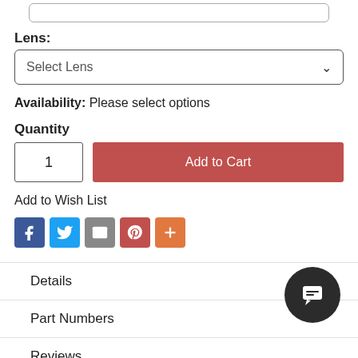Lens:
Select Lens
Availability: Please select options
Quantity
1
Add to Cart
Add to Wish List
[Figure (other): Social share icons: Facebook, Twitter, Email, Pinterest, More]
Details
Part Numbers
Reviews
[Figure (other): Chat support button — dark circular icon with speech bubble]